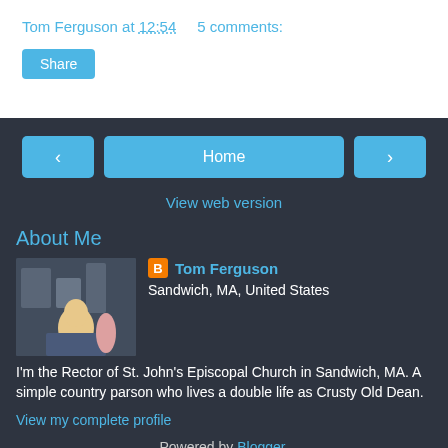Tom Ferguson at 12:54   5 comments:
Share
< Home >
View web version
About Me
Tom Ferguson
Sandwich, MA, United States
I'm the Rector of St. John's Episcopal Church in Sandwich, MA. A simple country parson who lives a double life as Crusty Old Dean.
View my complete profile
Powered by Blogger.